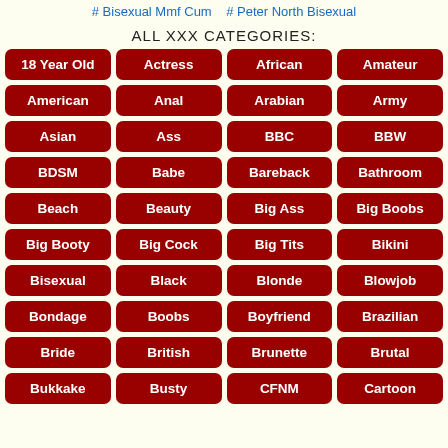# Bisexual Mmf Cum  # Peter North Bisexual
ALL XXX CATEGORIES:
18 Year Old
Actress
African
Amateur
American
Anal
Arabian
Army
Asian
Ass
BBC
BBW
BDSM
Babe
Bareback
Bathroom
Beach
Beauty
Big Ass
Big Boobs
Big Booty
Big Cock
Big Tits
Bikini
Bisexual
Black
Blonde
Blowjob
Bondage
Boobs
Boyfriend
Brazilian
Bride
British
Brunette
Brutal
Bukkake
Busty
CFNM
Cartoon